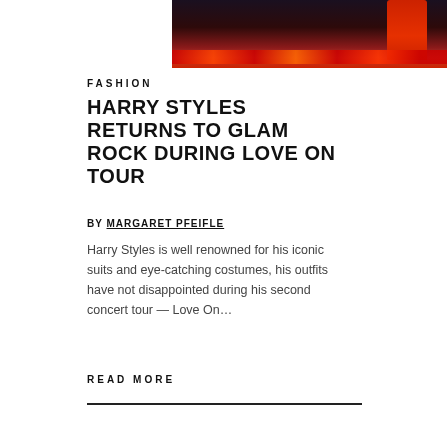[Figure (photo): Concert photo of Harry Styles performing on stage wearing a red outfit, with colorful stage lights in the background]
FASHION
HARRY STYLES RETURNS TO GLAM ROCK DURING LOVE ON TOUR
BY MARGARET PFEIFLE
Harry Styles is well renowned for his iconic suits and eye-catching costumes, his outfits have not disappointed during his second concert tour — Love On...
READ MORE
[Figure (photo): Close-up photo of a person with light blond hair, partially visible at the bottom of the page]